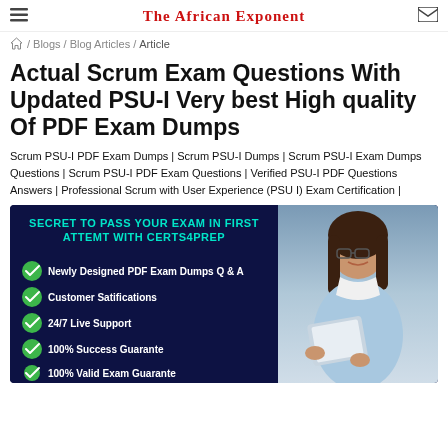The African Exponent
/ Blogs / Blog Articles / Article
Actual Scrum Exam Questions With Updated PSU-I Very best High quality Of PDF Exam Dumps
Scrum PSU-I PDF Exam Dumps | Scrum PSU-I Dumps | Scrum PSU-I Exam Dumps Questions | Scrum PSU-I PDF Exam Questions | Verified PSU-I PDF Questions Answers | Professional Scrum with User Experience (PSU I) Exam Certification |
[Figure (infographic): Dark navy infographic with teal heading 'SECRET TO PASS YOUR EXAM IN FIRST ATTEMT WITH CERTS4PREP' and bullet list: Newly Designed PDF Exam Dumps Q & A, Customer Satifications, 24/7 Live Support, 100% Success Guarante, 100% Valid Exam Guarante. Woman in light blue top holding tablet on right side.]